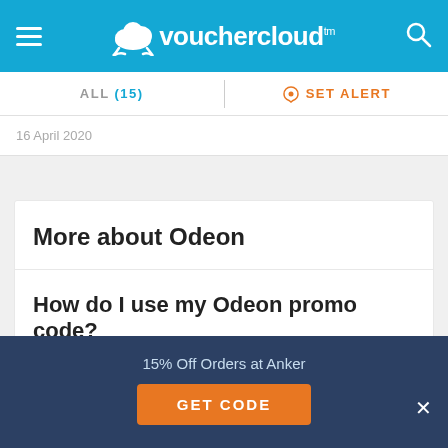vouchercloud™
ALL (15)   SET ALERT
16 April 2020
More about Odeon
How do I use my Odeon promo code?
vouchercloud Top Saving Tip
15% Off Orders at Anker
GET CODE